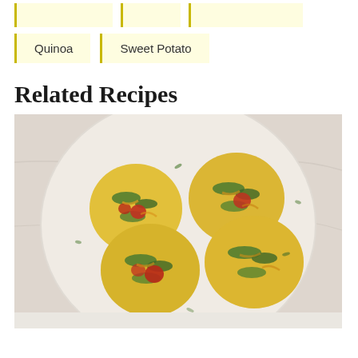Quinoa
Sweet Potato
Related Recipes
[Figure (photo): Overhead view of four egg muffins with vegetables (tomatoes, spinach, cheese) arranged on a cream/white round plate on a white marble surface. The egg cups are golden yellow with green herbs scattered on top and red tomato pieces visible inside.]